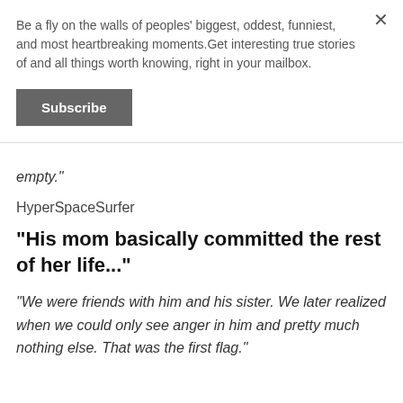Be a fly on the walls of peoples' biggest, oddest, funniest, and most heartbreaking moments.Get interesting true stories of and all things worth knowing, right in your mailbox.
Subscribe
empty."
HyperSpaceSurfer
"His mom basically committed the rest of her life..."
"We were friends with him and his sister. We later realized when we could only see anger in him and pretty much nothing else. That was the first flag."